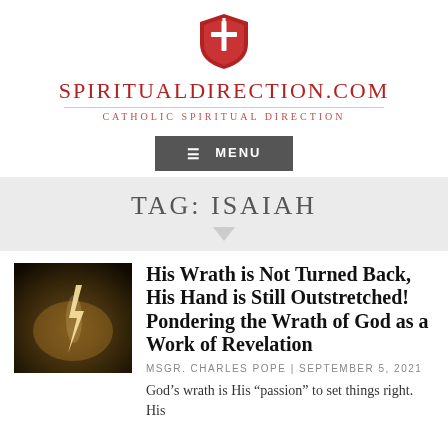[Figure (logo): SpiritualDirection.com shield logo in red]
SpiritualDirection.com
Catholic Spiritual Direction
[Figure (screenshot): Menu navigation button with hamburger icon]
TAG: ISAIAH
[Figure (photo): Dark stormy sky with lightning bolt]
His Wrath is Not Turned Back, His Hand is Still Outstretched! Pondering the Wrath of God as a Work of Revelation
MSGR. CHARLES POPE | SEPTEMBER 5, 2021
God’s wrath is His “passion” to set things right. His